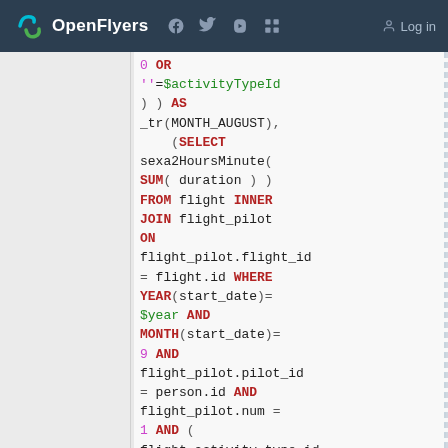OpenFlyers  [facebook] [twitter] [youtube] [rss]  Log in
0 OR
''=$activityTypeId
) ) AS
_tr(MONTH_AUGUST),
  (SELECT
sexa2HoursMinute(
SUM( duration ) )
FROM flight INNER
JOIN flight_pilot
ON
flight_pilot.flight_id
= flight.id WHERE
YEAR(start_date)=
$year AND
MONTH(start_date)=
9 AND
flight_pilot.pilot_id
= person.id AND
flight_pilot.num =
1 AND (
flight.activity_type_id
&
$activityTypeId !=
0 OR
''=$activityTypeId
) ) AS